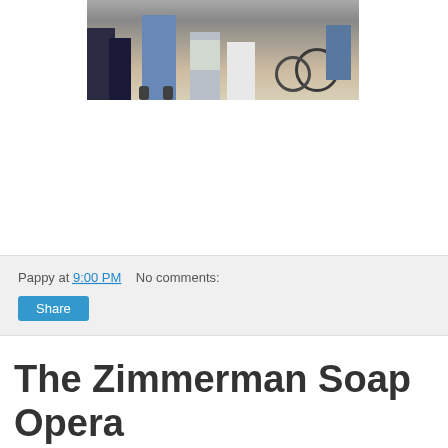[Figure (photo): Photograph of a crowd of people standing outdoors, showing lower bodies with blue jeans, various shoes, and a bicycle visible on the right side.]
Pappy at 9:00 PM    No comments:
Share
The Zimmerman Soap Opera